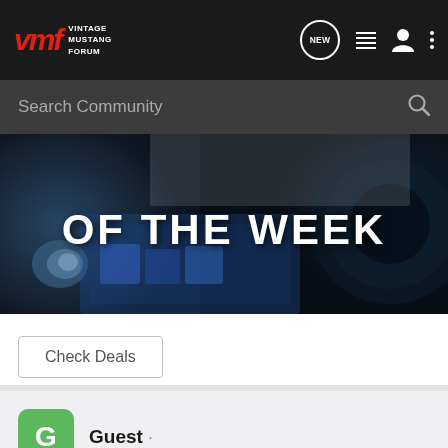VMF Vintage Mustang Forum
[Figure (screenshot): Website header with VMF logo (red italic), 'VINTAGE MUSTANG FORUM' text, and navigation icons: NEW (speech bubble), list, user, and vertical dots menu]
Search Community
[Figure (photo): Car engine/parts banner image with blue tones showing 'OF THE WEEK' text in large white bold letters]
Check Deals
Guest ·
#5 · Jul 9, 2002